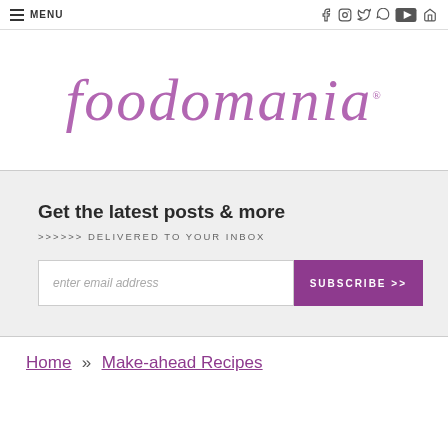MENU
foodomania
Get the latest posts & more
>>>>>> DELIVERED TO YOUR INBOX
enter email address   SUBSCRIBE >>
Home » Make-ahead Recipes